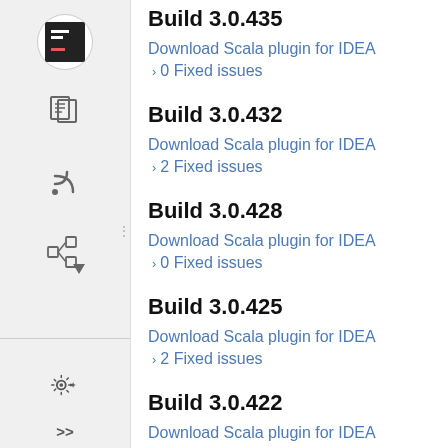[Figure (screenshot): Left sidebar with icons: JetBrains logo, document icon, RSS feed icon, tree/hierarchy icon, settings gear icon, and expand arrows icon at bottom]
Build 3.0.435
Download Scala plugin for IDEA
0 Fixed issues
Build 3.0.432
Download Scala plugin for IDEA
2 Fixed issues
Build 3.0.428
Download Scala plugin for IDEA
0 Fixed issues
Build 3.0.425
Download Scala plugin for IDEA
2 Fixed issues
Build 3.0.422
Download Scala plugin for IDEA